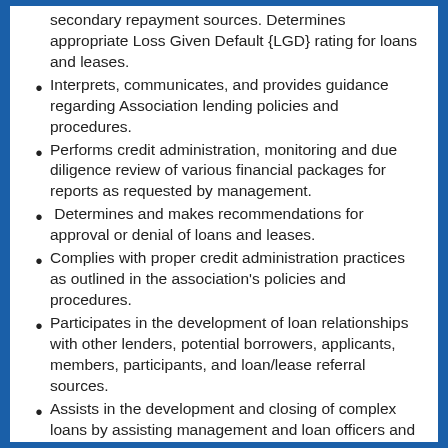secondary repayment sources. Determines appropriate Loss Given Default {LGD} rating for loans and leases.
Interprets, communicates, and provides guidance regarding Association lending policies and procedures.
Performs credit administration, monitoring and due diligence review of various financial packages for reports as requested by management.
Determines and makes recommendations for approval or denial of loans and leases.
Complies with proper credit administration practices as outlined in the association's policies and procedures.
Participates in the development of loan relationships with other lenders, potential borrowers, applicants, members, participants, and loan/lease referral sources.
Assists in the development and closing of complex loans by assisting management and loan officers and negotiation of such credits.
Acts as an approver of loans and leases and credit servicing actions within personal delegated